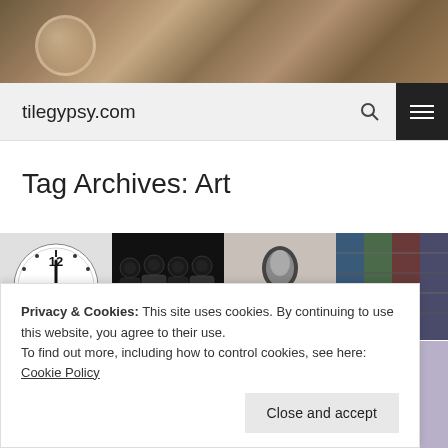[Figure (photo): Header banner showing glassware and crystal objects in warm brown/sepia tones]
tilegypsy.com
Tag Archives: Art
[Figure (photo): Grid of four images: clock showing 12, wine bottles, black-and-white portrait, colorful detail. Second row partially visible.]
Privacy & Cookies: This site uses cookies. By continuing to use this website, you agree to their use.
To find out more, including how to control cookies, see here: Cookie Policy
Close and accept